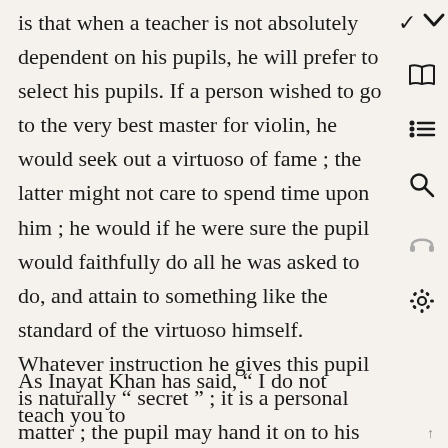is that when a teacher is not absolutely dependent on his pupils, he will prefer to select his pupils. If a person wished to go to the very best master for violin, he would seek out a virtuoso of fame ; the latter might not care to spend time upon him ; he would if he were sure the pupil would faithfully do all he was asked to do, and attain to something like the standard of the virtuoso himself. Whatever instruction he gives this pupil is naturally “ secret ” ; it is a personal matter ; the pupil may hand it on to his own pupils later, but he does not have it printed and circulated indiscriminately. The “secrecy ” is no more than this.
As Inayat Khan has said, “ I do not teach you to
↑